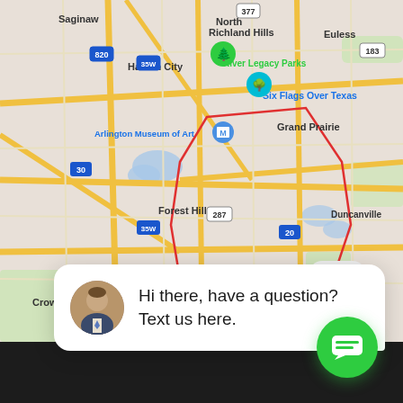[Figure (map): Google Maps screenshot showing Arlington, TX area with surrounding cities including Saginaw, North Richland Hills, Euless, Haltom City, Grand Prairie, Forest Hill, Crowley, Burleson, Duncanville. Points of interest include River Legacy Parks, Six Flags Over Texas, Arlington Museum of Art. Highway markers visible: 377, 820, 35W, 183, 30, 287, 20, 174. A red boundary outline marks a region roughly centered on Arlington. A 'close' button is visible at lower right of map.]
[Figure (screenshot): Chat widget popup with a circular avatar photo of a man in a suit, and text: 'Hi there, have a question? Text us here.' A green circular chat button with a message icon is shown at bottom right.]
Hi there, have a question? Text us here.